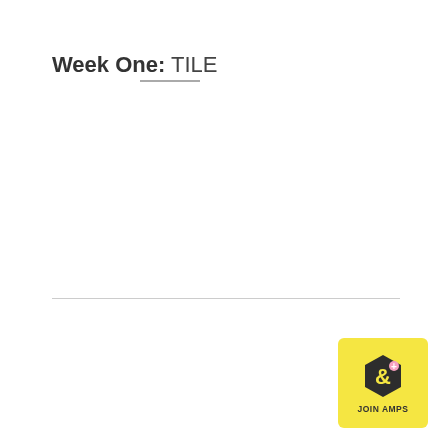Week One: TILE
[Figure (logo): JOIN AMPS hexagon badge with ampersand plus icon on yellow background]